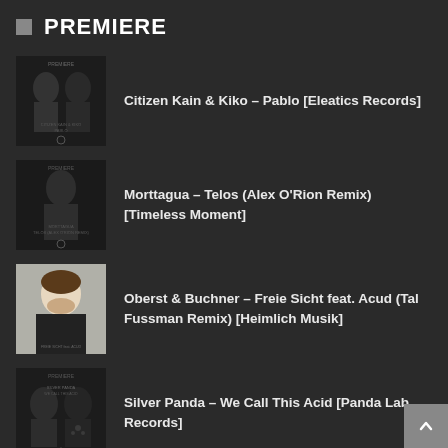PREMIERE
Citizen Kain & Kiko – Pablo [Eleatics Records]
Morttagua – Telos (Alex O'Rion Remix) [Timeless Moment]
Oberst & Buchner – Freie Sicht feat. Acud (Tal Fussman Remix) [Heimlich Musik]
Silver Panda – We Call This Acid [Panda Lab Records]